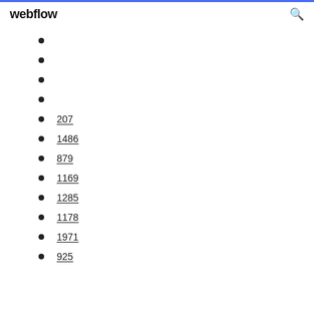webflow
207
1486
879
1169
1285
1178
1971
925